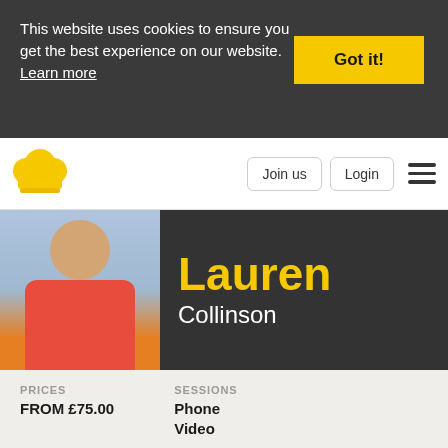This website uses cookies to ensure you get the best experience on our website. Learn more
Got it!
[Figure (logo): Yellow chef hat logo]
Join us
Login
[Figure (photo): Profile photo of Lauren Collinson wearing a red turtleneck sweater]
Lauren Collinson
PRICES
FROM £75.00
SESSIONS
Phone
Video